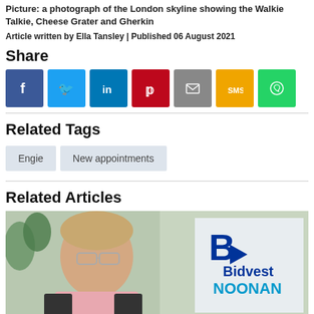Picture: a photograph of the London skyline showing the Walkie Talkie, Cheese Grater and Gherkin
Article written by Ella Tansley | Published 06 August 2021
Share
[Figure (infographic): Row of social media share buttons: Facebook (blue), Twitter (light blue), LinkedIn (dark blue), Pinterest (red), Email (grey), SMS (yellow), WhatsApp (green)]
Related Tags
Engie
New appointments
Related Articles
[Figure (photo): A man wearing glasses and a pink shirt with a Bidvest Noonan logo in the background]